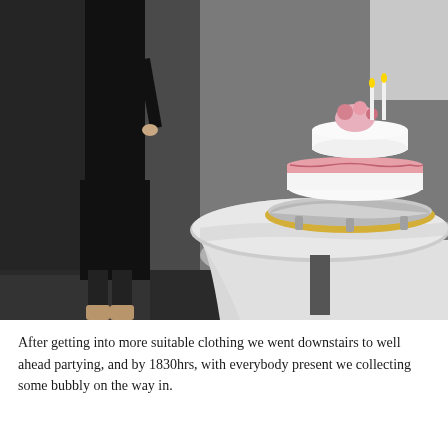[Figure (photo): A person dressed in a black outfit standing next to a round table with a white tablecloth. On the table is a two-tiered white wedding cake with pink decorations on a silver ornate cake stand. The setting appears to be indoors, possibly a hotel or event venue.]
After getting into more suitable clothing we went downstairs to well ahead partying, and by 1830hrs, with everybody present we collecting some bubbly on the way in.